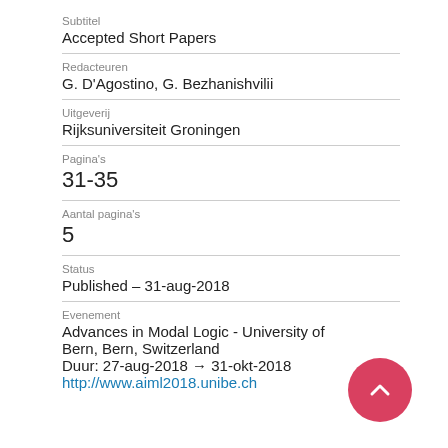Subtitel
Accepted Short Papers
Redacteuren
G. D'Agostino, G. Bezhanishvilii
Uitgeverij
Rijksuniversiteit Groningen
Pagina's
31-35
Aantal pagina's
5
Status
Published – 31-aug-2018
Evenement
Advances in Modal Logic - University of Bern, Bern, Switzerland
Duur: 27-aug-2018 → 31-okt-2018
http://www.aiml2018.unibe.ch